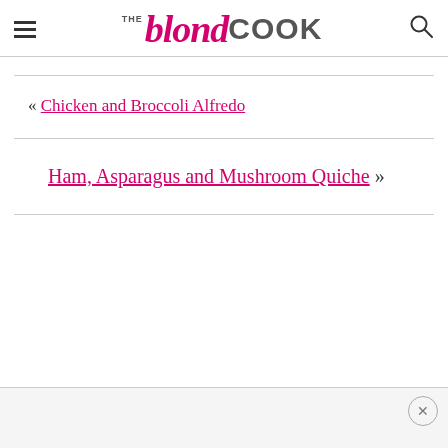THE blond COOK
« Chicken and Broccoli Alfredo
Ham, Asparagus and Mushroom Quiche »